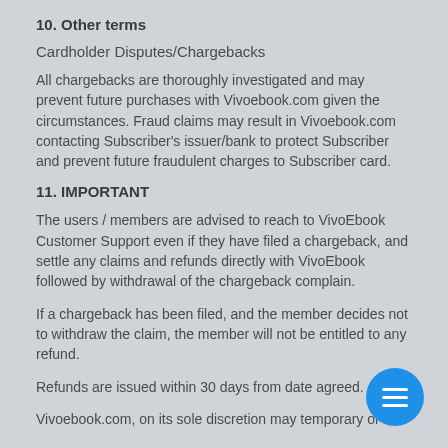10. Other terms
Cardholder Disputes/Chargebacks
All chargebacks are thoroughly investigated and may prevent future purchases with Vivoebook.com given the circumstances. Fraud claims may result in Vivoebook.com contacting Subscriber's issuer/bank to protect Subscriber and prevent future fraudulent charges to Subscriber card.
11. IMPORTANT
The users / members are advised to reach to VivoEbook Customer Support even if they have filed a chargeback, and settle any claims and refunds directly with VivoEbook followed by withdrawal of the chargeback complain.
If a chargeback has been filed, and the member decides not to withdraw the claim, the member will not be entitled to any refund.
Refunds are issued within 30 days from date agreed.
Vivoebook.com, on its sole discretion may temporary or